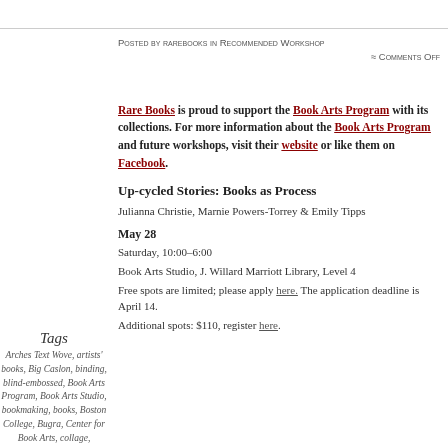Posted by rarebooks in Recommended Workshop ≈ Comments Off
Rare Books is proud to support the Book Arts Program with its collections. For more information about the Book Arts Program and future workshops, visit their website or like them on Facebook.
Up-cycled Stories: Books as Process
Julianna Christie, Marnie Powers-Torrey & Emily Tipps
May 28
Saturday, 10:00–6:00
Book Arts Studio, J. Willard Marriott Library, Level 4
Free spots are limited; please apply here. The application deadline is April 14.
Additional spots: $110, register here.
Tags
Arches Text Wove, artists' books, Big Caslon, binding, blind-embossed, Book Arts Program, Book Arts Studio, bookmaking, books, Boston College, Bugra, Center for Book Arts, collage,